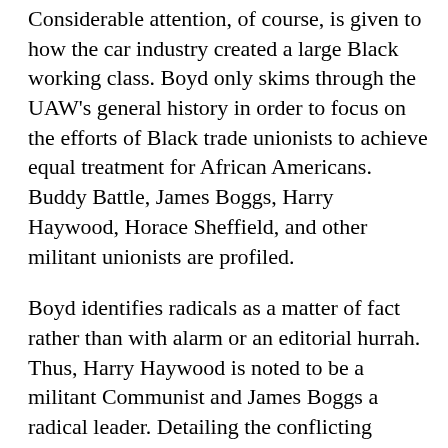Considerable attention, of course, is given to how the car industry created a large Black working class. Boyd only skims through the UAW's general history in order to focus on the efforts of Black trade unionists to achieve equal treatment for African Americans. Buddy Battle, James Boggs, Harry Haywood, Horace Sheffield, and other militant unionists are profiled.
Boyd identifies radicals as a matter of fact rather than with alarm or an editorial hurrah. Thus, Harry Haywood is noted to be a militant Communist and James Boggs a radical leader. Detailing the conflicting political positions of such persons is not attempted.
This choice of factual reportage rather than evaluation of ideological differences may disappoint some activist readers, but Boyd's purpose is to accustom readers unfamiliar with radical history with the positive role of radicals in mass movements. He